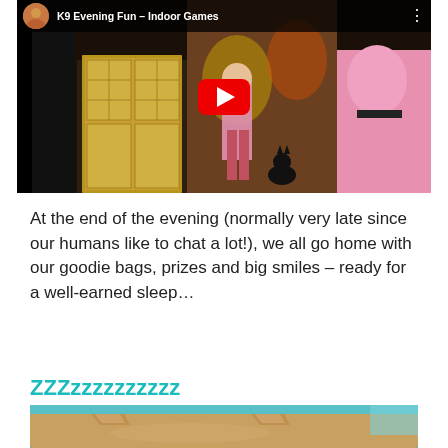[Figure (screenshot): YouTube video thumbnail showing 'K9 Evening Fun - Indoor Games' with a red play button in the center. Scene shows a person in pink boots with a black cat in a colorful indoor setting.]
At the end of the evening (normally very late since our humans like to chat a lot!), we all go home with our goodie bags, prizes and big smiles – ready for a well-earned sleep…
ZZZzzzzzzzzzz
[Figure (photo): Close-up photo of a sleeping dog or cat, showing the top of its head and ears against a blue-green background.]